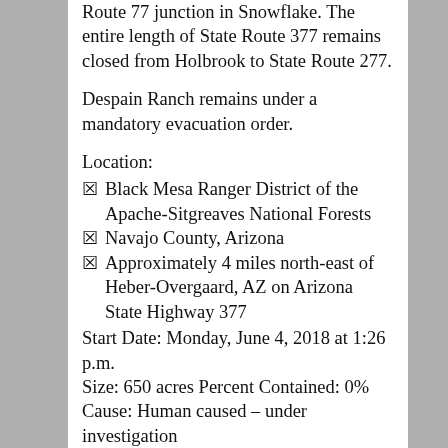Route 77 junction in Snowflake. The entire length of State Route 377 remains closed from Holbrook to State Route 277.
Despain Ranch remains under a mandatory evacuation order.
Location:
Black Mesa Ranger District of the Apache-Sitgreaves National Forests
Navajo County, Arizona
Approximately 4 miles north-east of Heber-Overgaard, AZ on Arizona State Highway 377
Start Date: Monday, June 4, 2018 at 1:26 p.m.
Size: 650 acres Percent Contained: 0%
Cause: Human caused – under investigation
Personnel Assigned: 150
Vegetation: Pinyon, Juniper Growth Potential: Moderate
Summary: The 377 Fire, made up of multiple